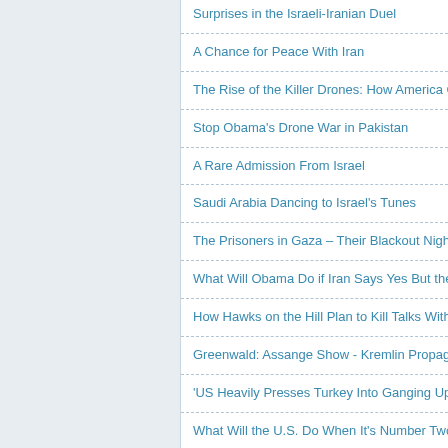Surprises in the Israeli-Iranian Duel
A Chance for Peace With Iran
The Rise of the Killer Drones: How America Goes to War in
Stop Obama's Drone War in Pakistan
A Rare Admission From Israel
Saudi Arabia Dancing to Israel's Tunes
The Prisoners in Gaza – Their Blackout Nightmare
What Will Obama Do if Iran Says Yes But the Lobby & Con
How Hawks on the Hill Plan to Kill Talks With Iran
Greenwald: Assange Show - Kremlin Propaganda? Look W
'US Heavily Presses Turkey Into Ganging Up on Syria'
What Will the U.S. Do When It's Number Two?
The War on Terror Is Corrupting All It Touches
Syria and the Usual Suspects
The Irrationality of the Case against Iran's Nuclear Program
Washington Leads World Into Lawlessness
Obama Administration Silencing Pakistani Drone-Strike Law